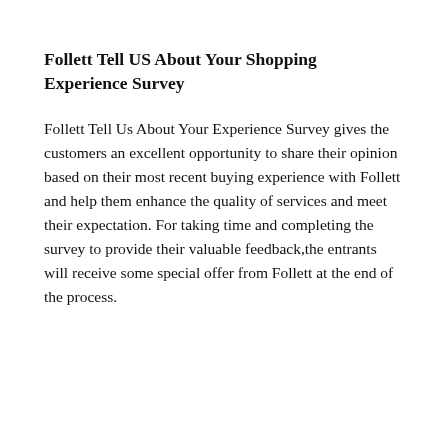Follett Tell US About Your Shopping Experience Survey
Follett Tell Us About Your Experience Survey gives the customers an excellent opportunity to share their opinion based on their most recent buying experience with Follett and help them enhance the quality of services and meet their expectation. For taking time and completing the survey to provide their valuable feedback,the entrants will receive some special offer from Follett at the end of the process.